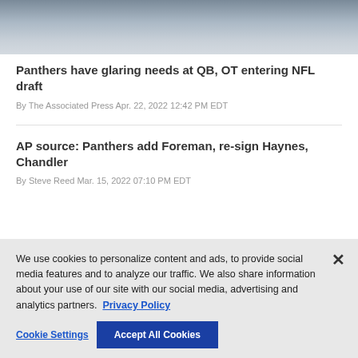[Figure (photo): Partial photograph of people, cropped at top, showing torsos with clothing in red, white, and dark colors]
Panthers have glaring needs at QB, OT entering NFL draft
By The Associated Press Apr. 22, 2022 12:42 PM EDT
AP source: Panthers add Foreman, re-sign Haynes, Chandler
By Steve Reed Mar. 15, 2022 07:10 PM EDT
We use cookies to personalize content and ads, to provide social media features and to analyze our traffic. We also share information about your use of our site with our social media, advertising and analytics partners.  Privacy Policy
Cookie Settings
Accept All Cookies